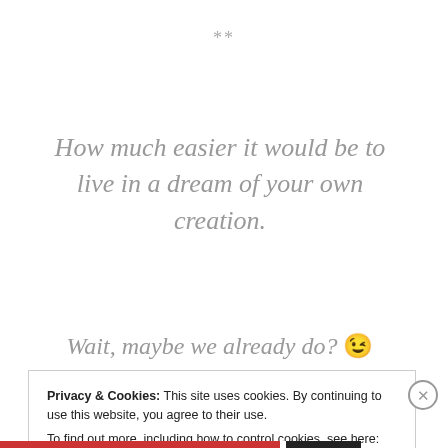**
How much easier it would be to live in a dream of your own creation.
Wait, maybe we already do? 😉
Starr©
Privacy & Cookies: This site uses cookies. By continuing to use this website, you agree to their use. To find out more, including how to control cookies, see here: Cookie Policy
Close and accept